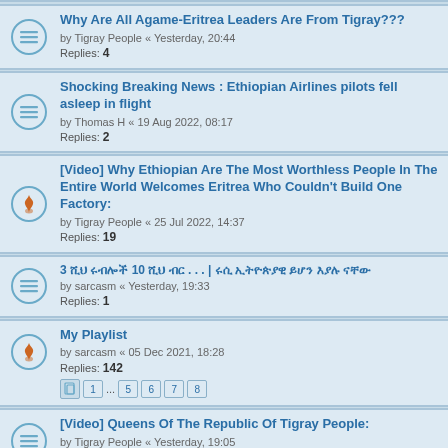Why Are All Agame-Eritrea Leaders Are From Tigray??? by Tigray People « Yesterday, 20:44 Replies: 4
Shocking Breaking News : Ethiopian Airlines pilots fell asleep in flight by Thomas H « 19 Aug 2022, 08:17 Replies: 2
[Video] Why Ethiopian Are The Most Worthless People In The Entire World Welcomes Eritrea Who Couldn't Build One Factory: by Tigray People « 25 Jul 2022, 14:37 Replies: 19
3 ሺህ ሩብሎች 10 ሺህ ብር . . . | ሩሲ ኢትዮጵያዊ ይሆን እያሉ ናቸው by sarcasm « Yesterday, 19:33 Replies: 1
My Playlist by sarcasm « 05 Dec 2021, 18:28 Replies: 142 Pages: 1 ... 5 6 7 8
[Video] Queens Of The Republic Of Tigray People: by Tigray People « Yesterday, 19:05 Replies: 1
The Meles era is history by Mesob « Yesterday, 17:26 Replies: 3
ᎤᎢᏗ ᎤᎢᏗ ᎤᎢ ... ᎤᎢᏗ ᎤᎢ ᎤᎢᏗᎤ by Tadiyalehu « Yesterday, 18:50 Replies: 2
[Video] Eritrea People Worshipping Fascist White People To...